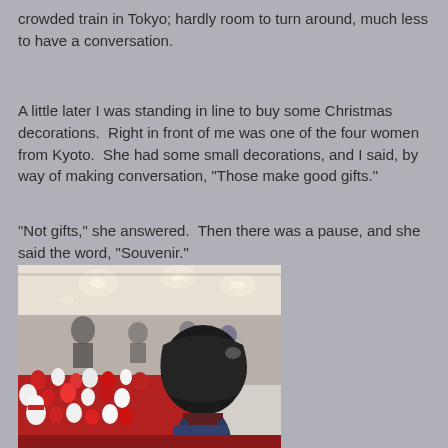crowded train in Tokyo; hardly room to turn around, much less to have a conversation.
A little later I was standing in line to buy some Christmas decorations.  Right in front of me was one of the four women from Kyoto.  She had some small decorations, and I said, by way of making conversation, "Those make good gifts."
"Not gifts," she answered.  Then there was a pause, and she said the word, "Souvenir."
[Figure (photo): Indoor Christmas market or decoration sale with crowded tables full of red and white Christmas decorations and figurines. Many people browsing. A woman with dark hair and a backpack is visible in the foreground. Ceiling lights illuminate the hall.]